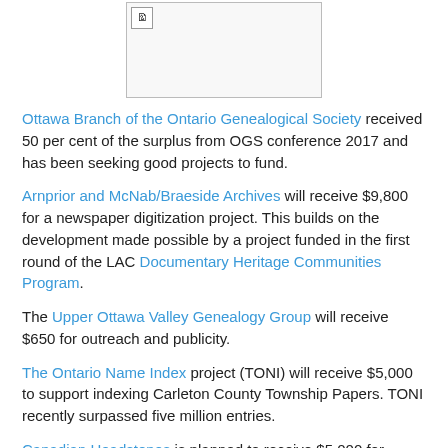[Figure (photo): Placeholder image box with broken image icon in top-left corner]
Ottawa Branch of the Ontario Genealogical Society received 50 per cent of the surplus from OGS conference 2017 and has been seeking good projects to fund.
Arnprior and McNab/Braeside Archives will receive $9,800 for a newspaper digitization project. This builds on the development made possible by a project funded in the first round of the LAC Documentary Heritage Communities Program.
The Upper Ottawa Valley Genealogy Group will receive $650 for outreach and publicity.
The Ontario Name Index project (TONI) will receive $5,000 to support indexing Carleton County Township Papers. TONI recently surpassed five million entries.
Canadian Headstones is planned to receive $5,000 for